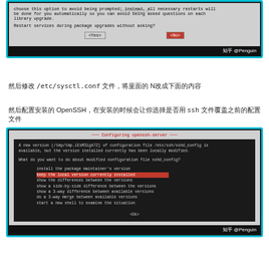[Figure (screenshot): Terminal dialog asking about restarting services during package upgrades, with Yes and No options. No is highlighted in red.]
然后修改 /etc/sysctl.conf 文件，将里面的 N改成下面的内容
然后配置安装的 OpenSSH，在安装的时候会让你选择是否用 ssh 文件覆盖之前的配置文件
[Figure (screenshot): Terminal dialog for Configuring openssh-server, asking what to do about modified configuration file sshd_config, with options including keep the local version currently installed (highlighted in red).]